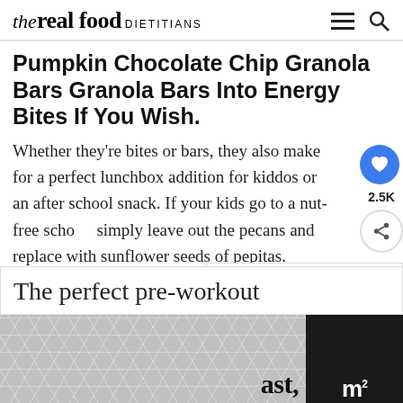the real food DIETITIANS
Pumpkin Chocolate Chip Granola Bars Granola Bars Into Energy Bites If You Wish.
Whether they’re bites or bars, they also make for a perfect lunchbox addition for kiddos or an after school snack. If your kids go to a nut-free school, simply leave out the pecans and replace with sunflower seeds of pepitas.
The perfect pre-workout
ast,